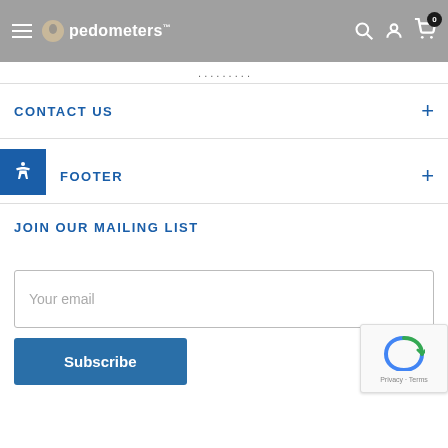pedometers
CONTACT US
FOOTER
JOIN OUR MAILING LIST
Your email
Subscribe
Privacy · Terms